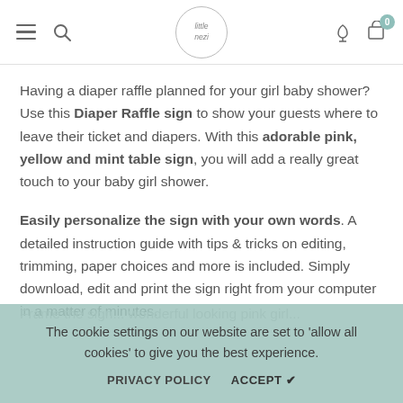little nezi — navigation header with hamburger menu, search, logo, account and cart icons
Having a diaper raffle planned for your girl baby shower? Use this Diaper Raffle sign to show your guests where to leave their ticket and diapers. With this adorable pink, yellow and mint table sign, you will add a really great touch to your baby girl shower.
Easily personalize the sign with your own words. A detailed instruction guide with tips & tricks on editing, trimming, paper choices and more is included. Simply download, edit and print the sign right from your computer in a matter of minutes.
Frame the sign... wonderful looking pink girl...
The cookie settings on our website are set to 'allow all cookies' to give you the best experience.
PRIVACY POLICY   ACCEPT ✔